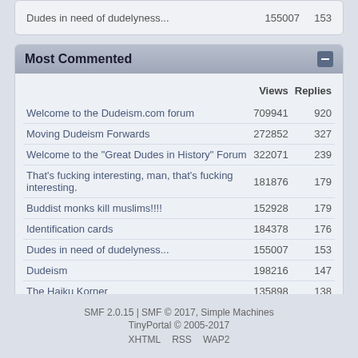|  | Views | Replies |
| --- | --- | --- |
| Dudes in need of dudelyness... | 155007 | 153 |
Most Commented
|  | Views | Replies |
| --- | --- | --- |
| Welcome to the Dudeism.com forum | 709941 | 920 |
| Moving Dudeism Forwards | 272852 | 327 |
| Welcome to the "Great Dudes in History" Forum | 322071 | 239 |
| That's fucking interesting, man, that's fucking interesting. | 181876 | 179 |
| Buddist monks kill muslims!!!! | 152928 | 179 |
| Identification cards | 184378 | 176 |
| Dudes in need of dudelyness... | 155007 | 153 |
| Dudeism | 198216 | 147 |
| The Haiku Korner | 135898 | 138 |
| Dudeism insulted | 141736 | 134 |
SMF 2.0.15 | SMF © 2017, Simple Machines
TinyPortal © 2005-2017
XHTML   RSS   WAP2